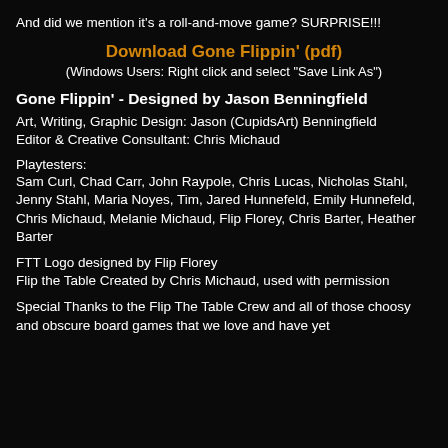And did we mention it's a roll-and-move game? SURPRISE!!!
Download Gone Flippin' (pdf)
(Windows Users: Right click and select "Save Link As")
Gone Flippin' - Designed by Jason Benningfield
Art, Writing, Graphic Design: Jason (CupidsArt) Benningfield
Editor & Creative Consultant: Chris Michaud
Playtesters:
Sam Curl, Chad Carr, John Raypole, Chris Lucas, Nicholas Stahl, Jenny Stahl, Maria Noyes, Tim, Jared Hunnefeld, Emily Hunnefeld, Chris Michaud, Melanie Michaud, Flip Florey, Chris Barter, Heather Barter
FTT Logo designed by Flip Florey
Flip the Table Created by Chris Michaud, used with permission
Special Thanks to the Flip The Table Crew and all of those choosy and obscure board games that we love and have yet to discover.